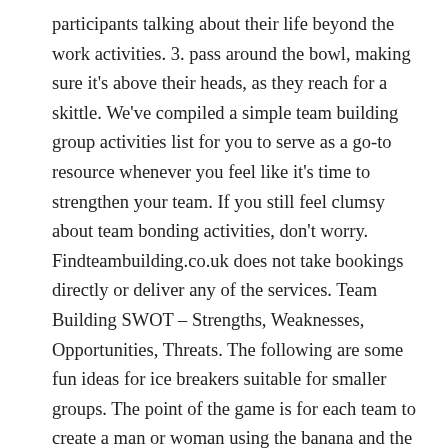participants talking about their life beyond the work activities. 3. pass around the bowl, making sure it's above their heads, as they reach for a skittle. We've compiled a simple team building group activities list for you to serve as a go-to resource whenever you feel like it's time to strengthen your team. If you still feel clumsy about team bonding activities, don't worry. Findteambuilding.co.uk does not take bookings directly or deliver any of the services. Team Building SWOT – Strengths, Weaknesses, Opportunities, Threats. The following are some fun ideas for ice breakers suitable for smaller groups. The point of the game is for each team to create a man or woman using the banana and the other items that was given to them. In this post, I want to share 35 meeting icebreaker games and questions that are: fun; quick-bonding; easy to do ; If you are a meeting planner, team leader, or event organizer (or simply want to make your meetings a little better), you MUST watch this video. Available in several